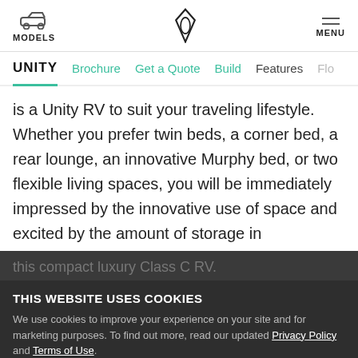MODELS | [logo] | MENU
UNITY   Brochure   Get a Quote   Build   Features   Flo...
is a Unity RV to suit your traveling lifestyle. Whether you prefer twin beds, a corner bed, a rear lounge, an innovative Murphy bed, or two flexible living spaces, you will be immediately impressed by the innovative use of space and excited by the amount of storage in
this compact luxury Class C RV.
THIS WEBSITE USES COOKIES
We use cookies to improve your experience on your site and for marketing purposes. To find out more, read our updated Privacy Policy and Terms of Use.
Cookie Settings
Accept All Cookies